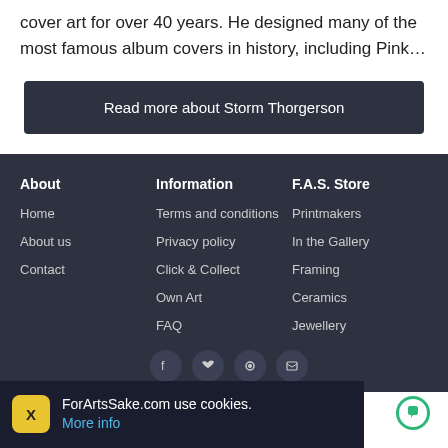cover art for over 40 years. He designed many of the most famous album covers in history, including Pink…
Read more about Storm Thorgerson
About
Information
F.A.S. Store
Home
Terms and conditions
Printmakers
About us
Privacy policy
In the Gallery
Contact
Click & Collect
Framing
Own Art
Ceramics
FAQ
Jewellery
ForArtsSake.com use cookies. More info